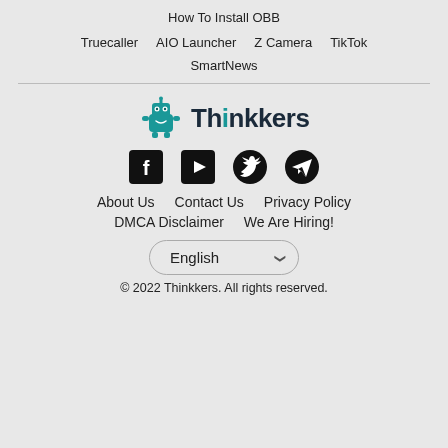How To Install OBB
Truecaller
AIO Launcher
Z Camera
TikTok
SmartNews
[Figure (logo): Thinkkers logo with teal robot mascot and bold text 'Thinkkers']
[Figure (infographic): Social media icons: Facebook, YouTube, Twitter, Telegram]
About Us    Contact Us    Privacy Policy
DMCA Disclaimer    We Are Hiring!
English (dropdown selector)
© 2022 Thinkkers. All rights reserved.